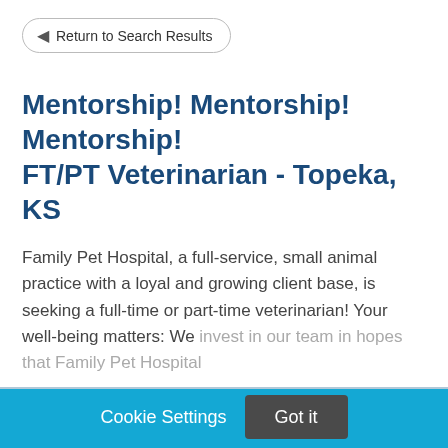Return to Search Results
Mentorship! Mentorship! Mentorship! FT/PT Veterinarian - Topeka, KS
Family Pet Hospital, a full-service, small animal practice with a loyal and growing client base, is seeking a full-time or part-time veterinarian! Your well-being matters: We invest in our team in hopes that Family Pet Hospital
Cookie Settings
Got it
We use cookies so that we can remember you and understand how you use our site. If you do not agree with our use of cookies, please change the current settings found in our Cookie Policy. Otherwise, you agree to the use of the cookies as they are currently set.